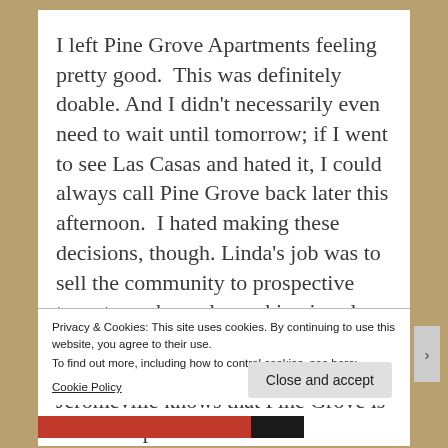I left Pine Grove Apartments feeling pretty good.  This was definitely doable. And I didn't necessarily even need to wait until tomorrow; if I went to see Las Casas and hated it, I could always call Pine Grove back later this afternoon.  I hated making these decisions, though. Linda's job was to sell the community to prospective tenants, and people working in sales always make things look better than they really are. Maybe everyone in Jeromeville knows that Pine Grove is the worst place in
Privacy & Cookies: This site uses cookies. By continuing to use this website, you agree to their use.
To find out more, including how to control cookies, see here:
Cookie Policy
Close and accept